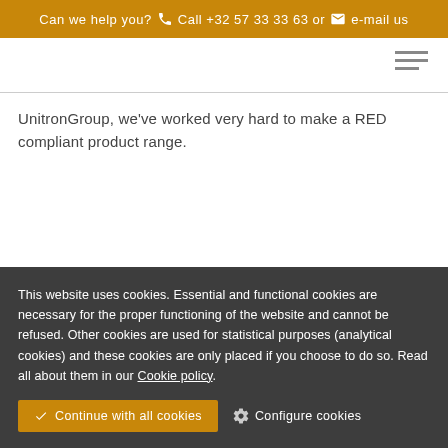Can we help you? Call +32 57 33 33 63 or e-mail us
UnitronGroup, we've worked very hard to make a RED compliant product range.
This website uses cookies. Essential and functional cookies are necessary for the proper functioning of the website and cannot be refused. Other cookies are used for statistical purposes (analytical cookies) and these cookies are only placed if you choose to do so. Read all about them in our Cookie policy.
Continue with all cookies  Configure cookies